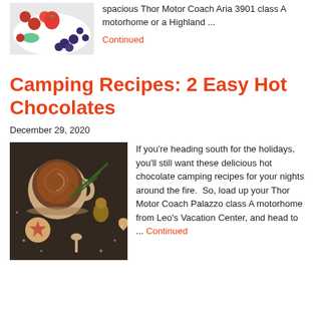[Figure (photo): Photo of berries and cream - raspberries, blueberries, strawberries on white background]
spacious Thor Motor Coach Aria 3901 class A motorhome or a Highland ...
Continued
Camping Recipes: 2 Easy Hot Chocolates
December 29, 2020
[Figure (photo): Top-down photo of a mug of hot chocolate with a cinnamon swirl, surrounded by pine branches, pine cones, cookies, and spices on a dark background]
If you're heading south for the holidays, you'll still want these delicious hot chocolate camping recipes for your nights around the fire.  So, load up your Thor Motor Coach Palazzo class A motorhome from Leo's Vacation Center, and head to ... Continued